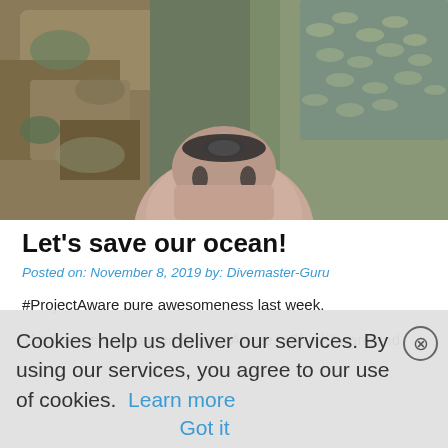[Figure (photo): Underwater photo showing a diver's head/back with a rounded black-striped helmet, surrounded by rocky coral reef and a school of fish visible in the background]
Let’s save our ocean!
Posted on: November 8, 2019 by: Divemaster-Guru
#ProjectAware pure awesomeness last week.
The Interns took part in Project Aware, #SharkAware and
Cookies help us deliver our services. By using our services, you agree to our use of cookies.  Learn more   Got it